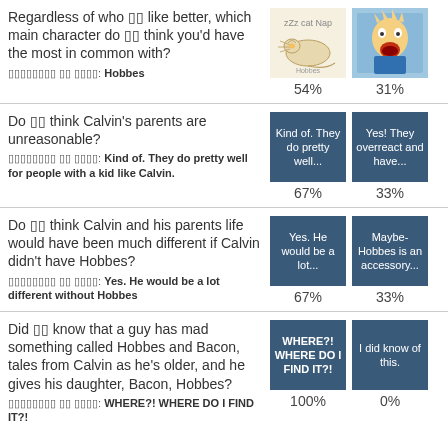Regardless of who you like better, which main character do you think you'd have the most in common with?
Most popular answer: Hobbes
[Figure (infographic): Two option tiles: sleeping cat/Hobbes image (54%) and yelling Calvin image (31%)]
Do you think Calvin's parents are unreasonable?
Most popular answer: Kind of. They do pretty well for people with a kid like Calvin.
[Figure (infographic): Two option tiles: 'Kind of. They do pretty well...' (67%) and 'Yes! They overreact and have...' (33%)]
Do you think Calvin and his parents life would have been much different if Calvin didn't have Hobbes?
Most popular answer: Yes. He would be a lot different without Hobbes
[Figure (infographic): Two option tiles: 'Yes. He would be a lot...' (67%) and 'Maybe- Hobbes is an accesso-ry...' (33%)]
Did you know that a guy has mad something called Hobbes and Bacon, tales from Calvin as he's older, and he gives his daughter, Bacon, Hobbes?
Most popular answer: WHERE?! WHERE DO I FIND IT?!
[Figure (infographic): Two option tiles: 'WHERE?! WHERE DO I FIND IT?!' (100%) and 'I did know of this.' (0%)]